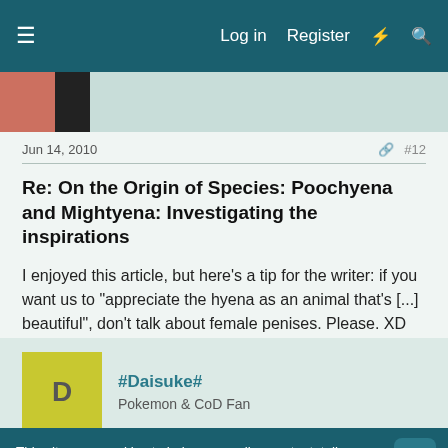Log in  Register
[Figure (photo): Partial profile image thumbnail in teal header area]
Jun 14, 2010   #12
Re: On the Origin of Species: Poochyena and Mightyena: Investigating the inspirations
I enjoyed this article, but here's a tip for the writer: if you want us to "appreciate the hyena as an animal that's [...] beautiful", don't talk about female penises. Please. XD
#Daisuke#
Pokemon & CoD Fan
This site uses cookies to help personalise content, tailor your experience and to keep you logged in if you register.
By continuing to use this site, you are consenting to our use of cookies.